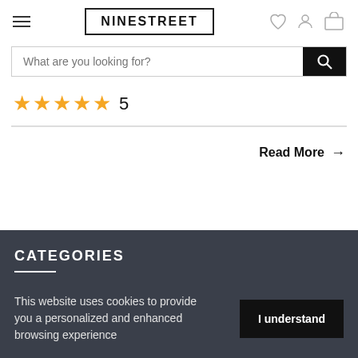NINESTREET
What are you looking for?
★★★★★ 5
Read More →
CATEGORIES
This website uses cookies to provide you a personalized and enhanced browsing experience
I understand